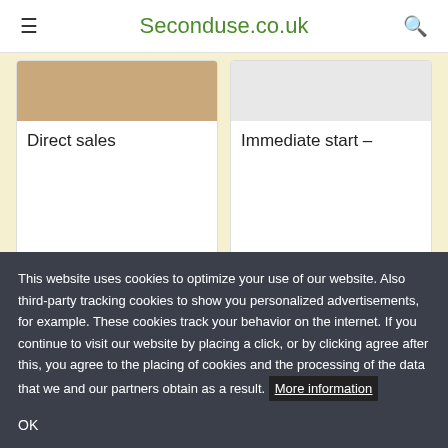Seconduse.co.uk
Direct sales
Immediate start –
This website uses cookies to optimize your use of our website. Also third-party tracking cookies to show you personalized advertisements, for example. These cookies track your behavior on the internet. If you continue to visit our website by placing a click, or by clicking agree after this, you agree to the placing of cookies and the processing of the data that we and our partners obtain as a result. More information
OK